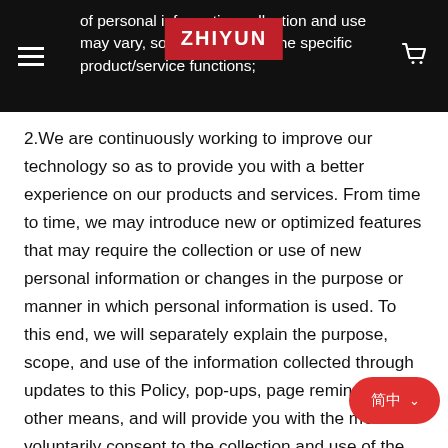of personal information collection and use may vary, so please refer to the specific product/service functions;
2.We are continuously working to improve our technology so as to provide you with a better experience on our products and services. From time to time, we may introduce new or optimized features that may require the collection or use of new personal information or changes in the purpose or manner in which personal information is used. To this end, we will separately explain the purpose, scope, and use of the information collected through updates to this Policy, pop-ups, page reminders, and other means, and will provide you with the means to voluntarily consent to the collection and use of the information with your express consent. Should you have any question, opinion, or suggestion in such process, please contact with us via dev@zhiyun-tech.com and we